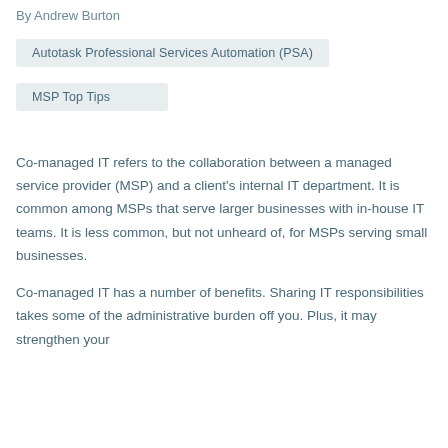By Andrew Burton
Autotask Professional Services Automation (PSA)
MSP Top Tips
Co-managed IT refers to the collaboration between a managed service provider (MSP) and a client's internal IT department. It is common among MSPs that serve larger businesses with in-house IT teams. It is less common, but not unheard of, for MSPs serving small businesses.
Co-managed IT has a number of benefits. Sharing IT responsibilities takes some of the administrative burden off you. Plus, it may strengthen your